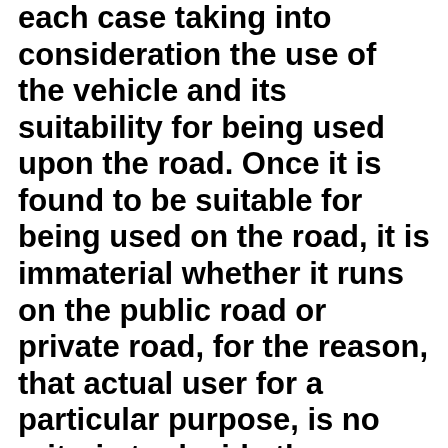each case taking into consideration the use of the vehicle and its suitability for being used upon the road. Once it is found to be suitable for being used on the road, it is immaterial whether it runs on the public road or private road, for the reason, that actual user for a particular purpose, is no criteria to decide the name- The word `only' used in Section 2(28) of